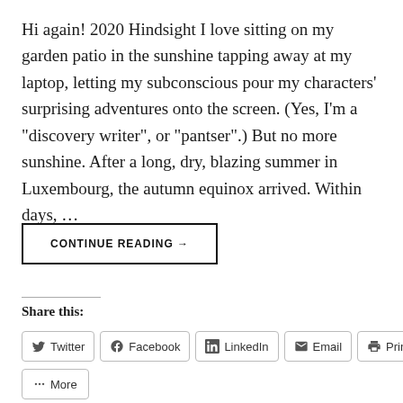Hi again! 2020 Hindsight I love sitting on my garden patio in the sunshine tapping away at my laptop, letting my subconscious pour my characters' surprising adventures onto the screen. (Yes, I'm a "discovery writer", or "pantser".) But no more sunshine. After a long, dry, blazing summer in Luxembourg, the autumn equinox arrived. Within days, …
CONTINUE READING →
Share this:
Twitter
Facebook
LinkedIn
Email
Print
More